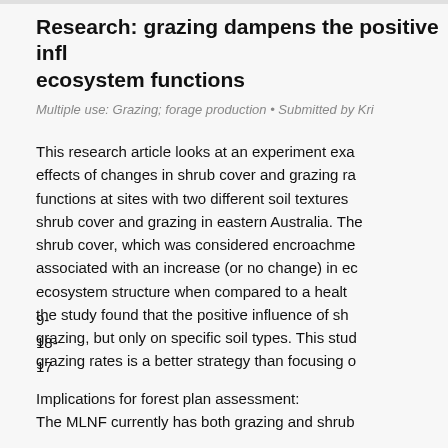Research: grazing dampens the positive influence on ecosystem functions
Multiple use: Grazing; forage production • Submitted by Kri
This research article looks at an experiment examining the effects of changes in shrub cover and grazing rates on ecosystem functions at sites with two different soil textures, using shrub cover and grazing in eastern Australia. The increase in shrub cover, which was considered encroachment, was associated with an increase (or no change) in ecosystem structure when compared to a healthy grassland; the study found that the positive influence of shrubs is dampened by grazing, but only on specific soil types. This study suggests managing grazing rates is a better strategy than focusing on shrub cover.
9-
18-
17
Implications for forest plan assessment:
The MLNF currently has both grazing and shrub